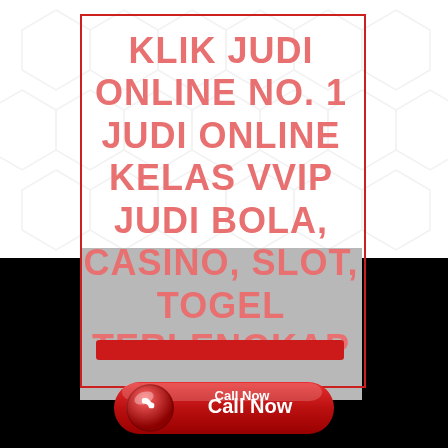[Figure (infographic): Advertisement for online gambling site. White top half with geometric diamond/hexagon pattern background, red border box overlay. Large bold pink/salmon text reading 'KLIK JUDI ONLINE NO. 1 JUDI ONLINE KELAS VVIP JUDI BOLA, CASINO, SLOT, TOGEL TERLENGKAP'. Grey bottom section with red horizontal bar. Black background on sides and bottom. Red Call Now button with phone icon at bottom center.]